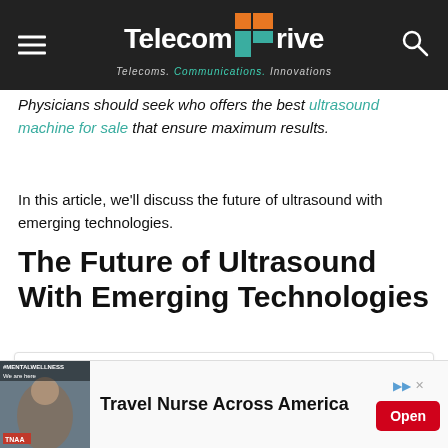TelecomDrive — Telecoms. Communications. Innovations.
Physicians should seek who offers the best ultrasound machine for sale that ensure maximum results.
In this article, we'll discuss the future of ultrasound with emerging technologies.
The Future of Ultrasound With Emerging Technologies
v Ultrasound Visualisation Methods
[Figure (other): Advertisement banner: Travel Nurse Across America (TNAA) with photo and Open button]